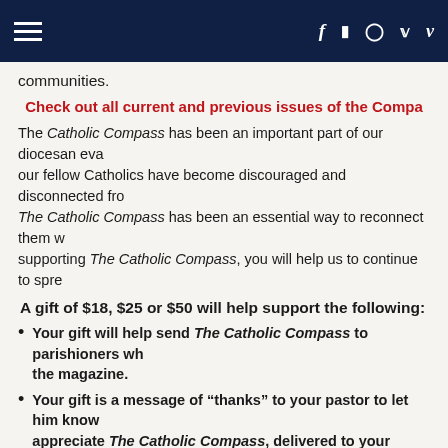Navigation header with hamburger menu and social icons: f (Facebook), YouTube, Instagram, Twitter, Vimeo
communities.
Check out all current and previous issues of the Compass
The Catholic Compass has been an important part of our diocesan eva... our fellow Catholics have become discouraged and disconnected fro... The Catholic Compass has been an essential way to reconnect them w... supporting The Catholic Compass, you will help us to continue to spre...
A gift of $18, $25 or $50 will help support the following:
Your gift will help send The Catholic Compass to parishioners wh... the magazine.
Your gift is a message of “thanks” to your pastor to let him kno... appreciate The Catholic Compass, delivered to your home every...
Your gift makes it possible for the diocese to send The Catholic C... families in the diocese.
By supporting your parish and our diocese in this effort, we will con... Christ’s love by delivering The Catholic Compass to homes like yours...